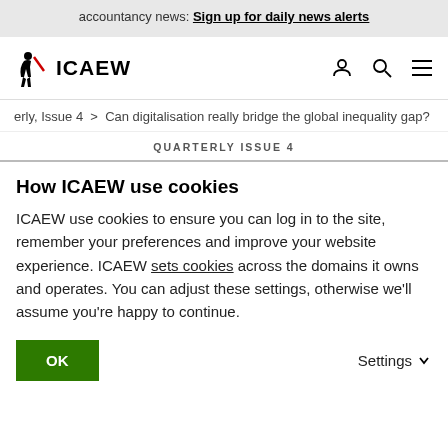accountancy news: Sign up for daily news alerts
[Figure (logo): ICAEW logo with silhouette figure and text ICAEW, plus navigation icons (user, search, hamburger menu)]
erly, Issue 4 > Can digitalisation really bridge the global inequality gap?
QUARTERLY ISSUE 4
How ICAEW use cookies
ICAEW use cookies to ensure you can log in to the site, remember your preferences and improve your website experience. ICAEW sets cookies across the domains it owns and operates. You can adjust these settings, otherwise we'll assume you're happy to continue.
OK
Settings